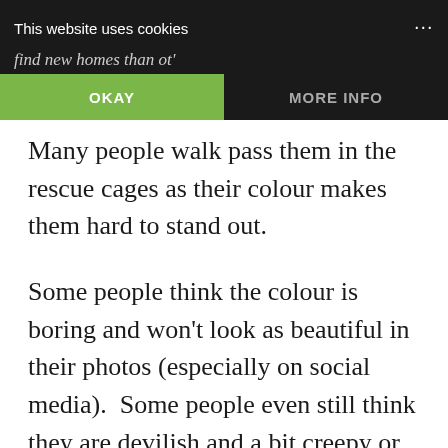[Figure (screenshot): Cookie consent banner overlay on a dark background. Top row shows 'This website uses cookies' text with partially visible body text 'find new homes than ot' and ellipsis dots. Below are two buttons: 'OKAY' (green) and 'MORE INFO' (dark).]
Many people walk pass them in the rescue cages as their colour makes them hard to stand out.
Some people think the colour is boring and won't look as beautiful in their photos (especially on social media).  Some people even still think they are devilish and a bit creepy or unlucky!